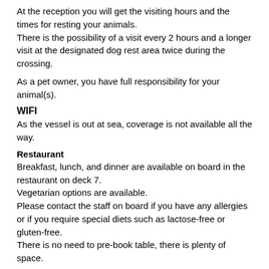At the reception you will get the visiting hours and the times for resting your animals.
There is the possibility of a visit every 2 hours and a longer visit at the designated dog rest area twice during the crossing.
As a pet owner, you have full responsibility for your animal(s).
WIFI
As the vessel is out at sea, coverage is not available all the way.
Restaurant
Breakfast, lunch, and dinner are available on board in the restaurant on deck 7.
Vegetarian options are available.
Please contact the staff on board if you have any allergies or if you require special diets such as lactose-free or gluten-free.
There is no need to pre-book table, there is plenty of space.
The Bar
At our aft lounge bar, you can enjoy a glass of wine or a beer in friendly company in a relaxed atmosphere.
In the summertime the outdoor bar on deck 8 is open.